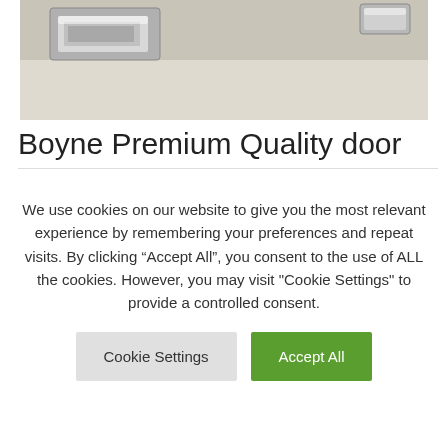[Figure (photo): Photo of chrome/silver door handle hardware on a light beige/cream surface, showing two handle pieces]
Boyne Premium Quality door
We use cookies on our website to give you the most relevant experience by remembering your preferences and repeat visits. By clicking “Accept All”, you consent to the use of ALL the cookies. However, you may visit "Cookie Settings" to provide a controlled consent.
Cookie Settings | Accept All